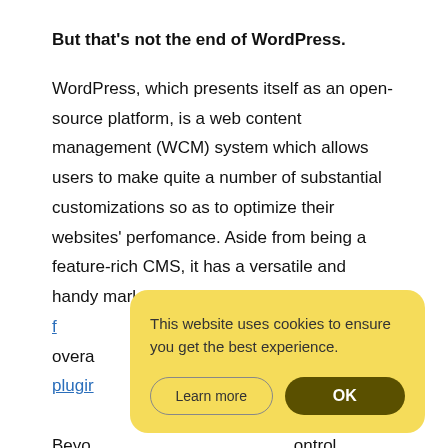But that's not the end of WordPress.
WordPress, which presents itself as an open-source platform, is a web content management (WCM) system which allows users to make quite a number of substantial customizations so as to optimize their websites' perfomance. Aside from being a feature-rich CMS, it has a versatile and handy marketplace. With over 21,000 free plugins to choose from. Giving the overall control over... plugins...
[Figure (screenshot): Cookie consent popup overlay with yellow background. Text reads: 'This website uses cookies to ensure you get the best experience.' Two buttons: 'Learn more' (outline style) and 'OK' (dark olive filled).]
Beyond... control over your... and with cu... ate...